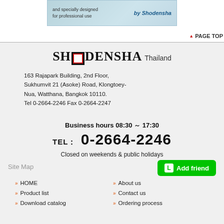[Figure (illustration): Shodensha banner advertisement with text 'and specially designed for professional use' and 'by Shodensha' logo on light blue background with product image]
▲ PAGE TOP
SHODENSHA Thailand
163 Rajapark Building, 2nd Floor, Sukhumvit 21 (Asoke) Road, Klongtoey-Nua, Watthana, Bangkok 10110.
Tel 0-2664-2246 Fax 0-2664-2247
Business hours 08:30 ～ 17:30
TEL： 0-2664-2246
Closed on weekends & public holidays
Site Map
Add friend
HOME
Product list
Download catalog
About us
Contact us
Ordering process